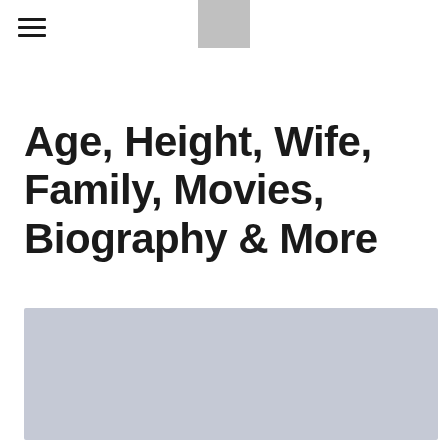[Figure (logo): Gray rectangular logo placeholder at top center]
Age, Height, Wife, Family, Movies, Biography & More
[Figure (photo): Large light gray image placeholder]